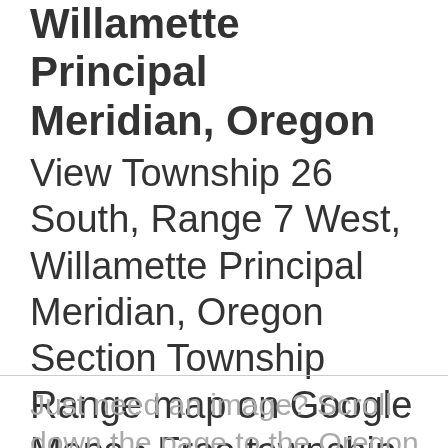Willamette Principal Meridian, Oregon
View Township 26 South, Range 7 West, Willamette Principal Meridian, Oregon Section Township Range map on Google Maps • Free township and range locator searches by address, place or reverse find by land parcel description.
Just need an image? Scroll down the page to the Oregon Sectio...